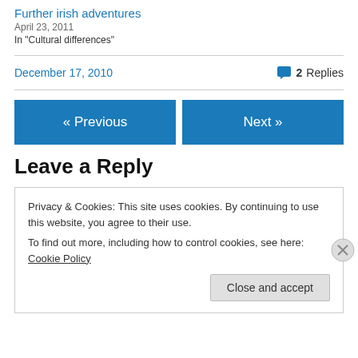Further irish adventures
April 23, 2011
In "Cultural differences"
December 17, 2010
2 Replies
« Previous
Next »
Leave a Reply
Privacy & Cookies: This site uses cookies. By continuing to use this website, you agree to their use.
To find out more, including how to control cookies, see here: Cookie Policy
Close and accept